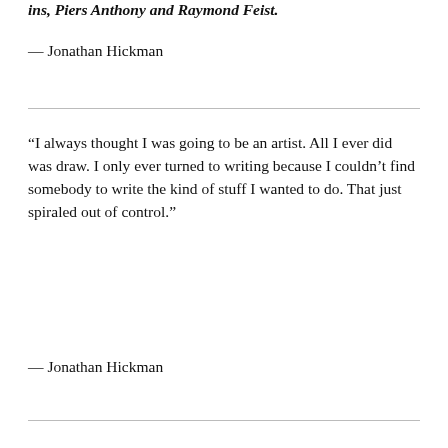ins, Piers Anthony and Raymond Feist.
— Jonathan Hickman
“I always thought I was going to be an artist. All I ever did was draw. I only ever turned to writing because I couldn’t find somebody to write the kind of stuff I wanted to do. That just spiraled out of control.”
— Jonathan Hickman